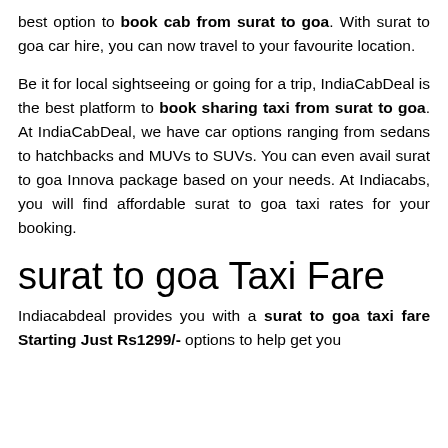best option to book cab from surat to goa. With surat to goa car hire, you can now travel to your favourite location.
Be it for local sightseeing or going for a trip, IndiaCabDeal is the best platform to book sharing taxi from surat to goa. At IndiaCabDeal, we have car options ranging from sedans to hatchbacks and MUVs to SUVs. You can even avail surat to goa Innova package based on your needs. At Indiacabs, you will find affordable surat to goa taxi rates for your booking.
surat to goa Taxi Fare
Indiacabdeal provides you with a surat to goa taxi fare Starting Just Rs1299/- options to help get you